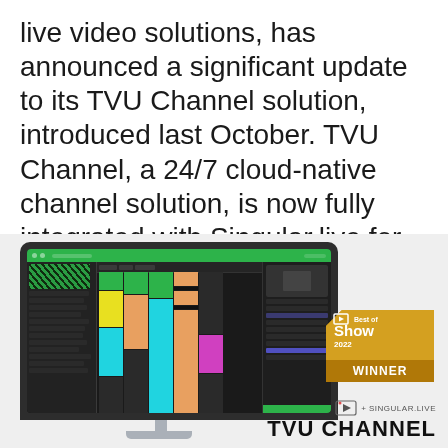live video solutions, has announced a significant update to its TVU Channel solution, introduced last October. TVU Channel, a 24/7 cloud-native channel solution, is now fully integrated with Singular.live for live graphic overlays.
[Figure (screenshot): Screenshot of TVU Channel software interface on a monitor, showing timeline/scheduling view with colored blocks (yellow, cyan, magenta, orange) on dark background. A 'Best of Show 2022 WINNER' badge overlaps the monitor image. Below the monitor is the TVU Channel + Singular.live logo.]